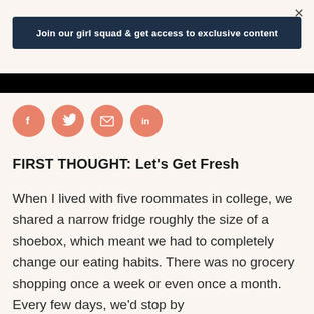×
Join our girl squad & get access to exclusive content
[Figure (other): Black bar, partially visible image]
[Figure (other): Social sharing icons: Facebook, Twitter, Email, LinkedIn — salmon/coral colored circles with white icons]
FIRST THOUGHT: Let's Get Fresh
When I lived with five roommates in college, we shared a narrow fridge roughly the size of a shoebox, which meant we had to completely change our eating habits. There was no grocery shopping once a week or even once a month. Every few days, we'd stop by